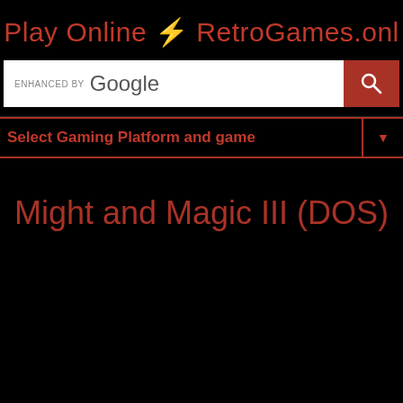Play Online ⚡ RetroGames.onl
[Figure (screenshot): Google enhanced search bar with red search button]
Select Gaming Platform and game
Might and Magic III (DOS)